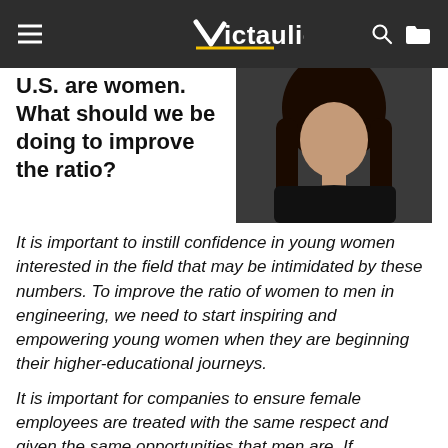Victaulic
U.S. are women. What should we be doing to improve the ratio?
[Figure (photo): Portrait photo of a woman with long dark hair, wearing a dark jacket, against a dark background]
It is important to instill confidence in young women interested in the field that may be intimidated by these numbers. To improve the ratio of women to men in engineering, we need to start inspiring and empowering young women when they are beginning their higher-educational journeys.
It is important for companies to ensure female employees are treated with the same respect and given the same opportunities that men are. If companies are mindful of this, more females will be motivated to advance their careers as well as inspire young women to begin their journey in engineering.